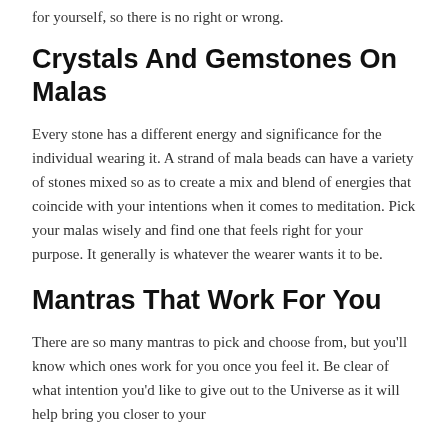for yourself, so there is no right or wrong.
Crystals And Gemstones On Malas
Every stone has a different energy and significance for the individual wearing it. A strand of mala beads can have a variety of stones mixed so as to create a mix and blend of energies that coincide with your intentions when it comes to meditation. Pick your malas wisely and find one that feels right for your purpose. It generally is whatever the wearer wants it to be.
Mantras That Work For You
There are so many mantras to pick and choose from, but you'll know which ones work for you once you feel it. Be clear of what intention you'd like to give out to the Universe as it will help bring you closer to your